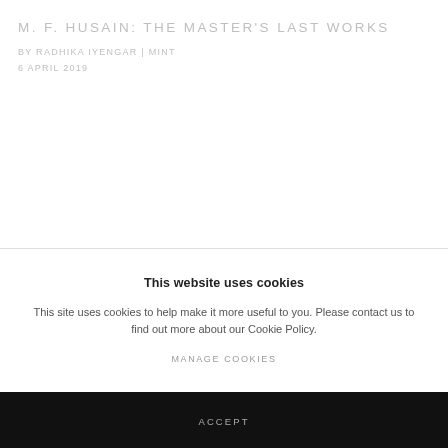M. F. HUSAIN: THE MASTER'S LAST WORKS
BY RADHIKA IYENGAR | MINT
6 APRIL 2019
This website uses cookies
This site uses cookies to help make it more useful to you. Please contact us to find out more about our Cookie Policy.
MANAGE COOKIES
ACCEPT